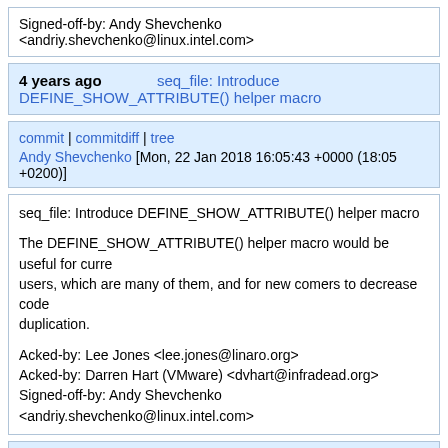Signed-off-by: Andy Shevchenko <andriy.shevchenko@linux.intel.com>
4 years ago   seq_file: Introduce DEFINE_SHOW_ATTRIBUTE() helper macro
commit | commitdiff | tree
Andy Shevchenko [Mon, 22 Jan 2018 16:05:43 +0000 (18:05 +0200)]
seq_file: Introduce DEFINE_SHOW_ATTRIBUTE() helper macro

The DEFINE_SHOW_ATTRIBUTE() helper macro would be useful for current users, which are many of them, and for new comers to decrease code duplication.

Acked-by: Lee Jones <lee.jones@linaro.org>
Acked-by: Darren Hart (VMware) <dvhart@infradead.org>
Signed-off-by: Andy Shevchenko <andriy.shevchenko@linux.intel.com>
4 years ago   Merge branch 'akpm' (patches from Andrew)
commit | commitdiff | tree
Linus Torvalds [Wed, 7 Feb 2018 06:15:42 +0000 (22:15 -0800)]